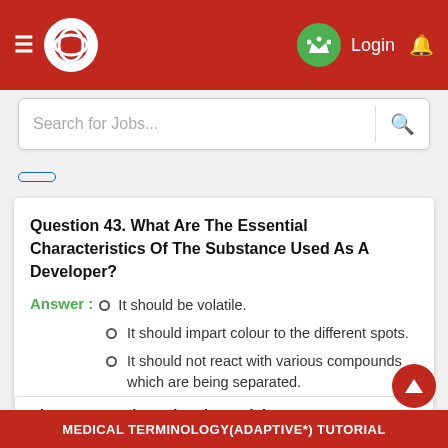Login
Search for Jobs...
Question 43. What Are The Essential Characteristics Of The Substance Used As A Developer?
It should be volatile.
It should impart colour to the different spots.
It should not react with various compounds which are being separated.
Chromatography Related Tutorials
Quality Management Tutorial
MEDICAL TERMINOLOGY(ADAPTIVE*) TUTORIAL